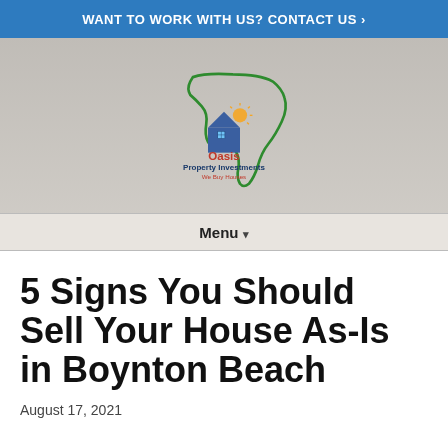WANT TO WORK WITH US? CONTACT US ›
[Figure (logo): Oasis Property Investments 'We Buy Houses' logo with Florida state outline in green, house icon with blue roof and orange sun, text in dark blue and red.]
Menu ▾
5 Signs You Should Sell Your House As-Is in Boynton Beach
August 17, 2021